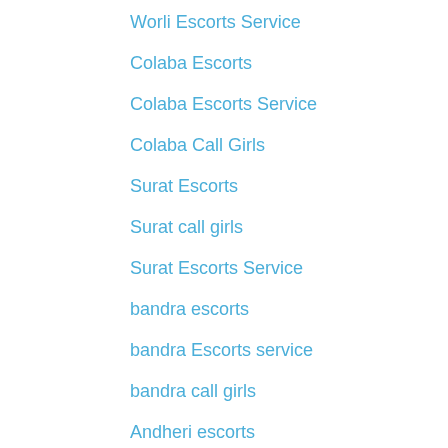Worli Escorts Service
Colaba Escorts
Colaba Escorts Service
Colaba Call Girls
Surat Escorts
Surat call girls
Surat Escorts Service
bandra escorts
bandra Escorts service
bandra call girls
Andheri escorts
Andheri Escorts service